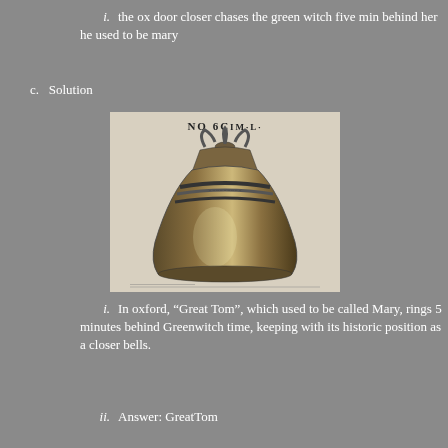i. the ox door closer chases the green witch five min behind her he used to be mary
c. Solution
[Figure (illustration): A detailed engraving/illustration of a large church bell labeled 'NO 6C' at the top, with decorative crown and bands around the middle of the bell.]
i. In oxford, “Great Tom”, which used to be called Mary, rings 5 minutes behind Greenwitch time, keeping with its historic position as a closer bells.
ii. Answer: GreatTom